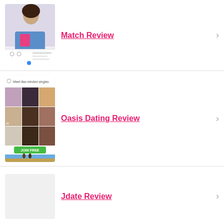[Figure (screenshot): Match dating app screenshot showing a woman and app UI elements]
Match Review
[Figure (screenshot): Oasis Dating app screenshot showing grid of profile photos, Meet like-minded singles header, Join Free button, and beach footer image]
Oasis Dating Review
Jdate Review